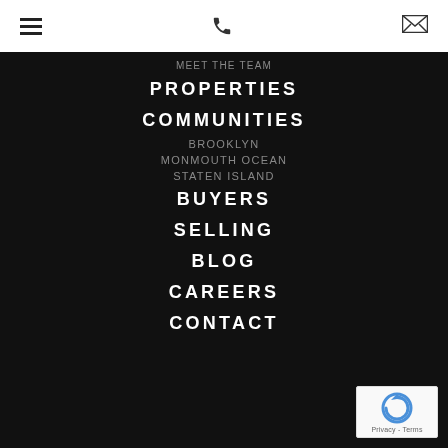[Figure (screenshot): White header bar with hamburger menu icon on left, phone icon in center, envelope/email icon on right]
MEET THE TEAM
PROPERTIES
COMMUNITIES
BROOKLYN
MONMOUTH OCEAN
STATEN ISLAND
BUYERS
SELLING
BLOG
CAREERS
CONTACT
[Figure (logo): reCAPTCHA badge with spinning arrow logo and Privacy - Terms text]